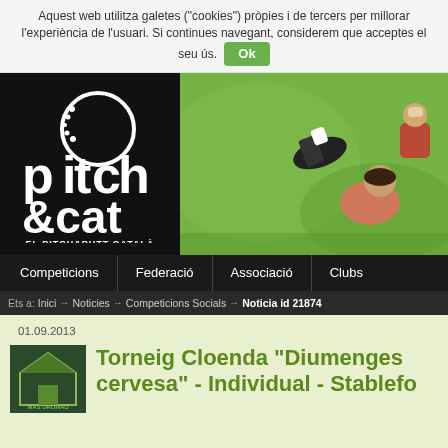Aquest web utilitza galetes ("cookies") pròpies i de tercers per millorar l'experiència de l'usuari. Si continues navegant, considerem que acceptes el seu ús. Ok
[Figure (logo): Pitch & Cat logo - white text on black background with circular golf ball graphic. Text reads 'pitch &cat EL PITCH&PUTT CATALÀ']
[Figure (photo): Children playing golf or pitch and putt on a green grass field, aerial/overhead perspective]
Competicions | Federació | Associació | Clubs
Ets a: Inici → Noticies → Competicions Socials → Noticia id 21874
01.09.2013
Torneig Cloenda "Diumenges cervesa" - Individual - Stablefo